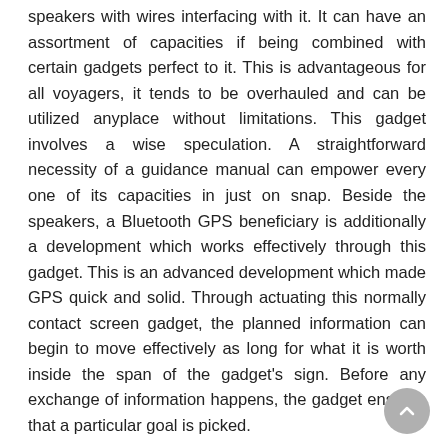speakers with wires interfacing with it. It can have an assortment of capacities if being combined with certain gadgets perfect to it. This is advantageous for all voyagers, it tends to be overhauled and can be utilized anyplace without limitations. This gadget involves a wise speculation. A straightforward necessity of a guidance manual can empower every one of its capacities in just on snap. Beside the speakers, a Bluetooth GPS beneficiary is additionally a development which works effectively through this gadget. This is an advanced development which made GPS quick and solid. Through actuating this normally contact screen gadget, the planned information can begin to move effectively as long for what it is worth inside the span of the gadget's sign. Before any exchange of information happens, the gadget ensures that a particular goal is picked.